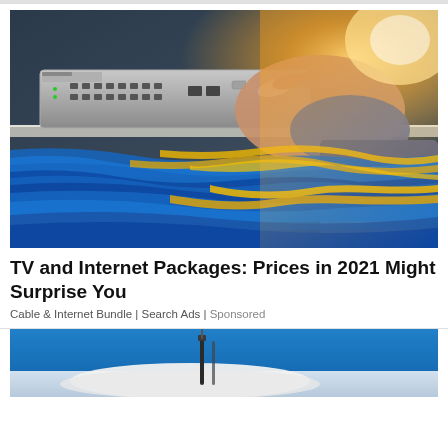[Figure (photo): A hand plugging in network cables into a network switch. Bundles of blue and yellow ethernet/fiber cables visible. Background has warm orange/golden light. Network switch with multiple RJ45 ports at top.]
TV and Internet Packages: Prices in 2021 Might Surprise You
Cable & Internet Bundle | Search Ads | Sponsored
[Figure (photo): Partial view of a medical or dental device on a blue background, appears to be a dental instrument or syringe on a light surface.]